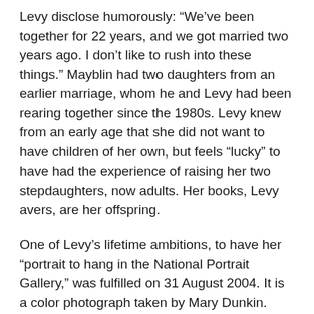Levy disclose humorously: “We’ve been together for 22 years, and we got married two years ago. I don’t like to rush into these things.” Mayblin had two daughters from an earlier marriage, whom he and Levy had been rearing together since the 1980s. Levy knew from an early age that she did not want to have children of her own, but feels “lucky” to have had the experience of raising her two stepdaughters, now adults. Her books, Levy avers, are her offspring.
One of Levy’s lifetime ambitions, to have her “portrait to hang in the National Portrait Gallery,” was fulfilled on 31 August 2004. It is a color photograph taken by Mary Dunkin. Levy connects the distinction of that honor to her concepts of nationality and decent citizenship